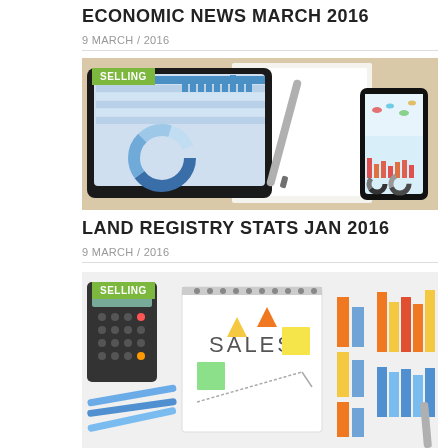ECONOMIC NEWS MARCH 2016
9 MARCH / 2016
[Figure (photo): Tablet showing financial charts and spreadsheets, pen, notebook, and smartphone displaying charts on a wooden desk. Green badge reading SELLING.]
LAND REGISTRY STATS JAN 2016
9 MARCH / 2016
[Figure (photo): Sales planning materials with notepad saying SALES, colorful sticky notes, bar charts and triangular markers. Green badge reading SELLING.]